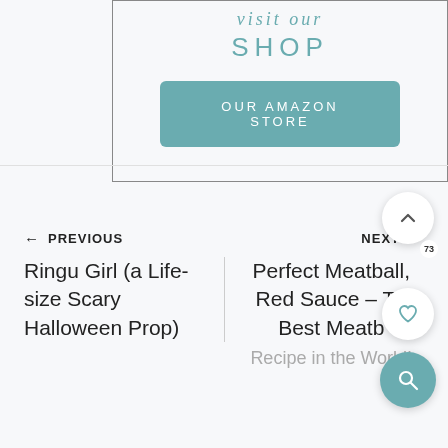[Figure (other): Shop promotional box with italic 'visit our' text, 'SHOP' heading, and teal 'OUR AMAZON STORE' button]
← PREVIOUS
NEXT →
Ringu Girl (a Life-size Scary Halloween Prop)
Perfect Meatball, Red Sauce – The Best Meatball Recipe in the World!